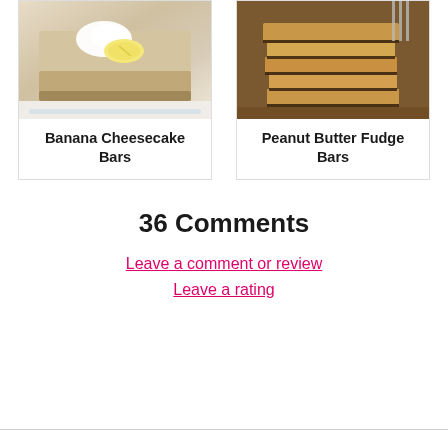[Figure (photo): Photo of Banana Cheesecake Bars — a square slice of cheesecake topped with whipped cream and banana slices on a white plate]
Banana Cheesecake Bars
[Figure (photo): Photo of Peanut Butter Fudge Bars — a stack of layered peanut butter fudge bars with chocolate striping on a wooden surface]
Peanut Butter Fudge Bars
36 Comments
Leave a comment or review
Leave a rating